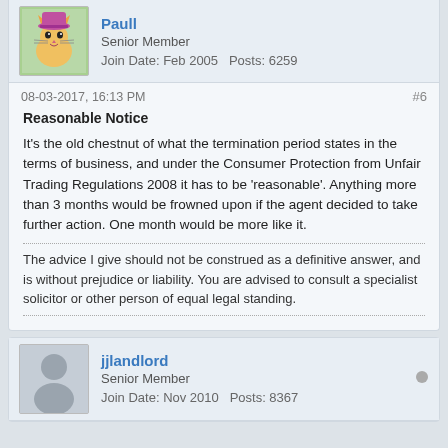PaulI — Senior Member — Join Date: Feb 2005 — Posts: 6259
08-03-2017, 16:13 PM #6
Reasonable Notice
It's the old chestnut of what the termination period states in the terms of business, and under the Consumer Protection from Unfair Trading Regulations 2008 it has to be 'reasonable'. Anything more than 3 months would be frowned upon if the agent decided to take further action. One month would be more like it.
The advice I give should not be construed as a definitive answer, and is without prejudice or liability. You are advised to consult a specialist solicitor or other person of equal legal standing.
jjlandlord — Senior Member — Join Date: Nov 2010 — Posts: 8367